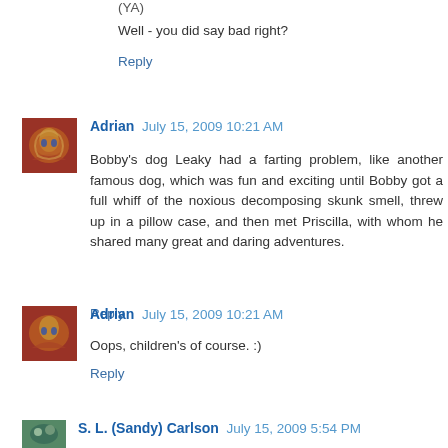(YA)
Well - you did say bad right?
Reply
Adrian  July 15, 2009 10:21 AM
Bobby's dog Leaky had a farting problem, like another famous dog, which was fun and exciting until Bobby got a full whiff of the noxious decomposing skunk smell, threw up in a pillow case, and then met Priscilla, with whom he shared many great and daring adventures.
Reply
Adrian  July 15, 2009 10:21 AM
Oops, children's of course. :)
Reply
S. L. (Sandy) Carlson  July 15, 2009 5:54 PM